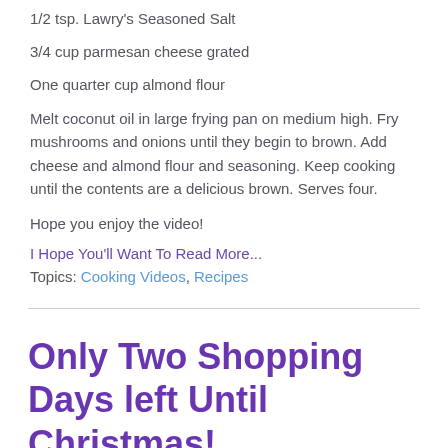1/2 tsp. Lawry's Seasoned Salt
3/4 cup parmesan cheese grated
One quarter cup almond flour
Melt coconut oil in large frying pan on medium high. Fry mushrooms and onions until they begin to brown. Add cheese and almond flour and seasoning. Keep cooking until the contents are a delicious brown. Serves four.
Hope you enjoy the video!
I Hope You'll Want To Read More...
Topics: Cooking Videos, Recipes
Only Two Shopping Days left Until Christmas!
Post by Dan Y...